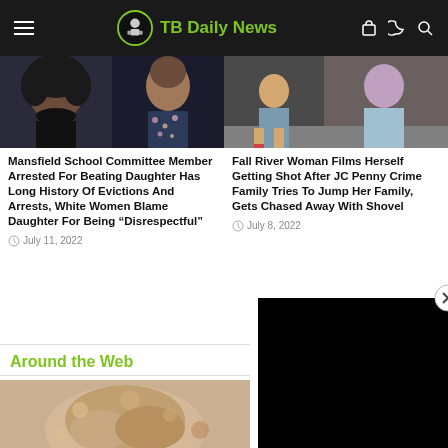TB Daily News
[Figure (photo): Photo of a young woman with curly hair and a woman in a floral dress - news article image]
Mansfield School Committee Member Arrested For Beating Daughter Has Long History Of Evictions And Arrests, White Women Blame Daughter For Being "Disrespectful"
July 11, 2022
[Figure (photo): Photo of women in a store - news article image]
Fall River Woman Films Herself Getting Shot After JC Penny Crime Family Tries To Jump Her Family, Gets Chased Away With Shovel
July 8, 2022
Around the Web
[Figure (photo): Partial image visible at bottom of page]
[Figure (screenshot): Black video player overlay in bottom right corner]